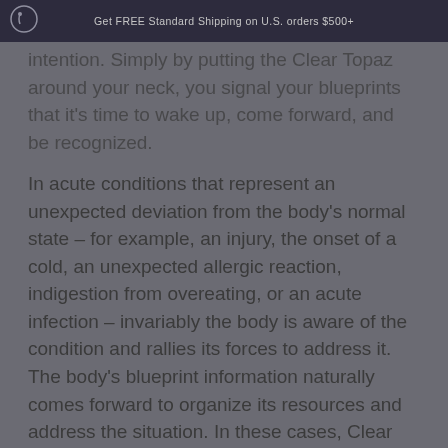Get FREE Standard Shipping on U.S. orders $500+
intention. Simply by putting the Clear Topaz around your neck, you signal your blueprints that it's time to wake up, come forward, and be recognized.
In acute conditions that represent an unexpected deviation from the body's normal state – for example, an injury, the onset of a cold, an unexpected allergic reaction, indigestion from overeating, or an acute infection – invariably the body is aware of the condition and rallies its forces to address it. The body's blueprint information naturally comes forward to organize its resources and address the situation. In these cases, Clear Topaz can help the body find the resources it needs to deal with the acute